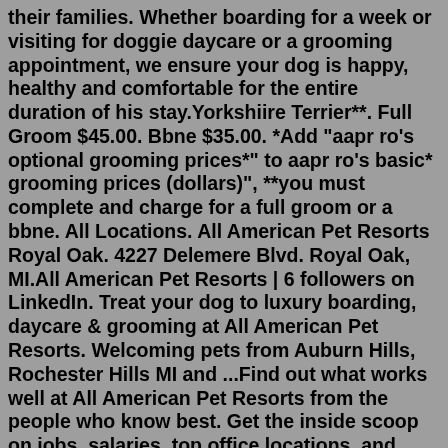their families. Whether boarding for a week or visiting for doggie daycare or a grooming appointment, we ensure your dog is happy, healthy and comfortable for the entire duration of his stay.Yorkshiire Terrier**. Full Groom $45.00. Bbne $35.00. *Add "aapr ro's optional grooming prices*" to aapr ro's basic* grooming prices (dollars)", **you must complete and charge for a full groom or a bbne. All Locations. All American Pet Resorts Royal Oak. 4227 Delemere Blvd. Royal Oak, MI.All American Pet Resorts | 6 followers on LinkedIn. Treat your dog to luxury boarding, daycare & grooming at All American Pet Resorts. Welcoming pets from Auburn Hills, Rochester Hills MI and ...Find out what works well at All American Pet Resorts from the people who know best. Get the inside scoop on jobs, salaries, top office locations, and CEO insights. Compare pay for popular roles and read about the team's work-life balance. Uncover why All American Pet Resorts is the best company for you.All American Pet Resorts is bringing quality pet care to Shelby Townsh...